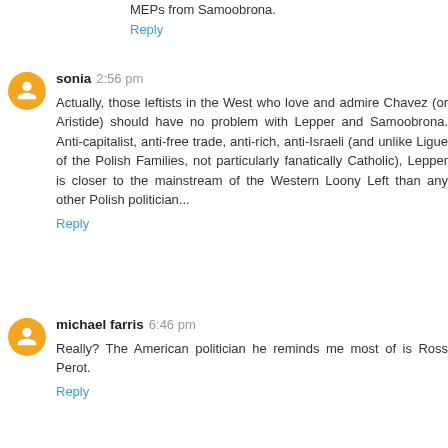MEPs from Samoobrona.
Reply
sonia 2:56 pm
Actually, those leftists in the West who love and admire Chavez (or Aristide) should have no problem with Lepper and Samoobrona. Anti-capitalist, anti-free trade, anti-rich, anti-Israeli (and unlike Ligue of the Polish Families, not particularly fanatically Catholic), Lepper is closer to the mainstream of the Western Loony Left than any other Polish politician...
Reply
michael farris 6:46 pm
Really? The American politician he reminds me most of is Ross Perot.
Reply